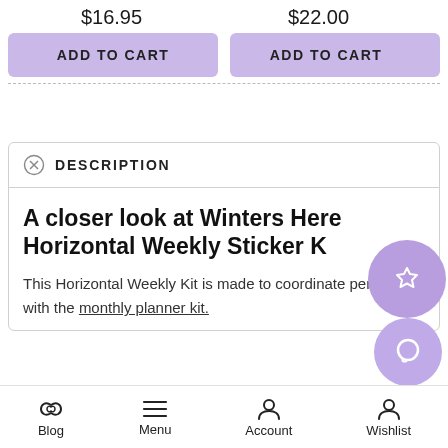$16.95
$22.00
ADD TO CART
ADD TO CART
DESCRIPTION
A closer look at Winters Here Horizontal Weekly Sticker K
This Horizontal Weekly Kit is made to coordinate perfectly with the monthly planner kit.
Blog  Menu  Account  Wishlist